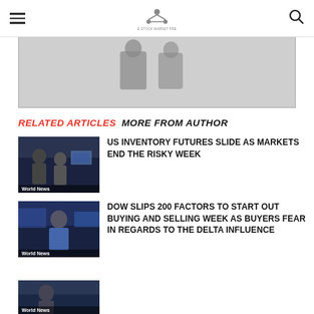[Figure (photo): Partial image/banner strip visible at top of content area, grey placeholder]
RELATED ARTICLES   MORE FROM AUTHOR
[Figure (photo): Thumbnail of stock traders on trading floor - World News]
US INVENTORY FUTURES SLIDE AS MARKETS END THE RISKY WEEK
[Figure (photo): Thumbnail of stock market traders - World News]
DOW SLIPS 200 FACTORS TO START OUT BUYING AND SELLING WEEK AS BUYERS FEAR IN REGARDS TO THE DELTA INFLUENCE
[Figure (photo): Thumbnail of trading floor - World News (partially visible)]